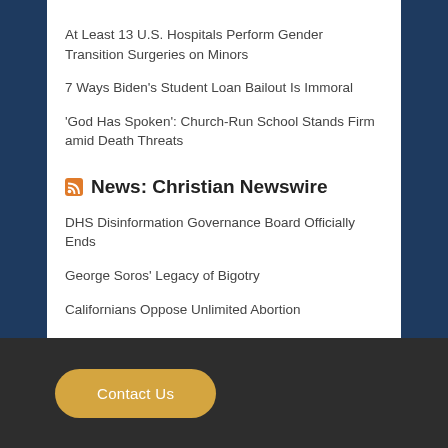At Least 13 U.S. Hospitals Perform Gender Transition Surgeries on Minors
7 Ways Biden's Student Loan Bailout Is Immoral
'God Has Spoken': Church-Run School Stands Firm amid Death Threats
News: Christian Newswire
DHS Disinformation Governance Board Officially Ends
George Soros' Legacy of Bigotry
Californians Oppose Unlimited Abortion
Contact Us